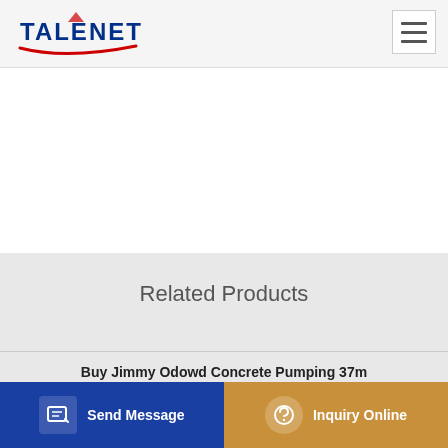[Figure (logo): Talenet company logo with blue text and red swoosh underline]
[Figure (other): Hamburger menu icon (three horizontal lines) in white box with border]
Related Products
Buy Jimmy Odowd Concrete Pumping 37m
Concrete Batching Plant ATP 45 ATP 60 Batching Plant
China Truck Mounted Concrete Pump Market Growth Economical
[Figure (other): Send Message button - blue background with document/edit icon and white text]
[Figure (other): Inquiry Online button - gold/amber background with headset icon and white text]